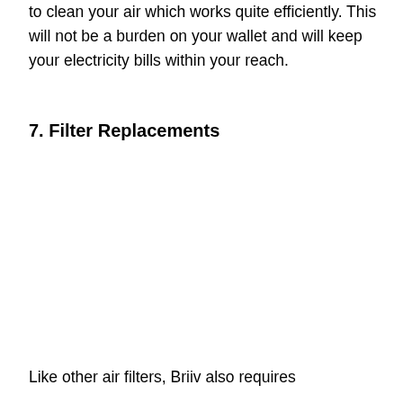to clean your air which works quite efficiently. This will not be a burden on your wallet and will keep your electricity bills within your reach.
7. Filter Replacements
Like other air filters, Briiv also requires